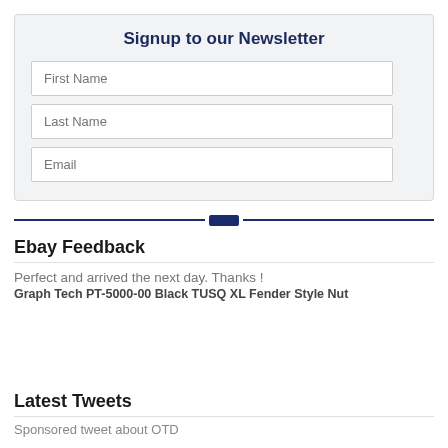Signup to our Newsletter
[Figure (other): Newsletter signup form with three input fields: First Name, Last Name, Email]
[Figure (other): Decorative horizontal divider line with a small rectangle icon in the center]
Ebay Feedback
Perfect and arrived the next day. Thanks !
Graph Tech PT-5000-00 Black TUSQ XL Fender Style Nut
Latest Tweets
Sponsored tweet about OTD